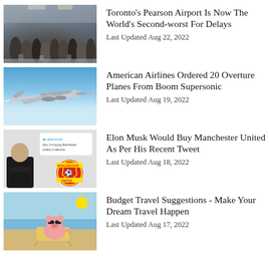[Figure (photo): Crowded airport terminal with many travelers]
Toronto's Pearson Airport Is Now The World's Second-worst For Delays
Last Updated Aug 22, 2022
[Figure (photo): Supersonic aircraft flying against blue sky]
American Airlines Ordered 20 Overture Planes From Boom Supersonic
Last Updated Aug 19, 2022
[Figure (photo): Elon Musk with Manchester United logo and tweet screenshot]
Elon Musk Would Buy Manchester United As Per His Recent Tweet
Last Updated Aug 18, 2022
[Figure (photo): Pig wearing sunglasses sitting on a beach chair]
Budget Travel Suggestions - Make Your Dream Travel Happen
Last Updated Aug 17, 2022